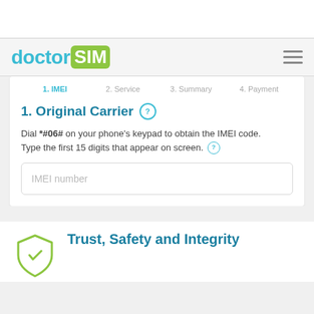doctorSIM
1. IMEI | 2. Service | 3. Summary | 4. Payment
1. Original Carrier
Dial *#06# on your phone's keypad to obtain the IMEI code. Type the first 15 digits that appear on screen.
IMEI number
Trust, Safety and Integrity